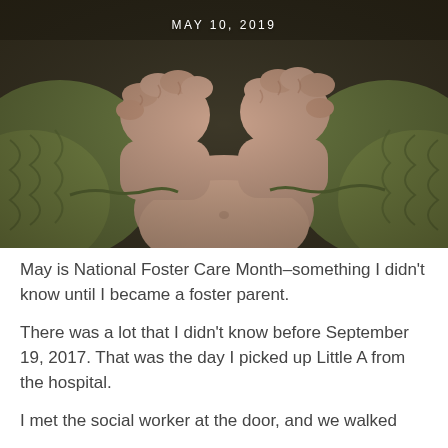[Figure (photo): Close-up photograph of a newborn baby's fists gripping the edges of an olive-green fabric or blanket. The baby's skin is pale pink and the fabric has gathered elastic edges. The background is dark olive/brown.]
MAY 10, 2019
May is National Foster Care Month–something I didn't know until I became a foster parent.
There was a lot that I didn't know before September 19, 2017. That was the day I picked up Little A from the hospital.
I met the social worker at the door, and we walked